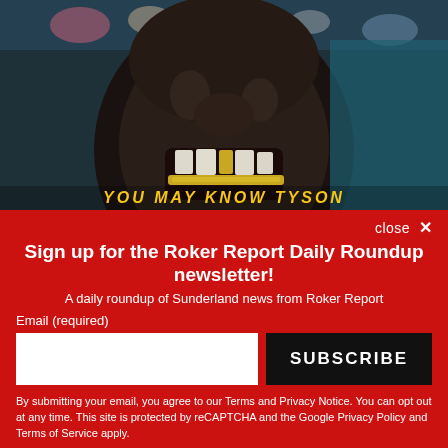[Figure (photo): Close-up photo of a person with gold teeth, mouth open, against a teal/dark background with audience visible. Text 'YOU MAY KNOW TYSON' appearing in yellow at the bottom of the image.]
close ×
Sign up for the Roker Report Daily Roundup newsletter!
A daily roundup of Sunderland news from Roker Report
Email (required)
SUBSCRIBE
By submitting your email, you agree to our Terms and Privacy Notice. You can opt out at any time. This site is protected by reCAPTCHA and the Google Privacy Policy and Terms of Service apply.